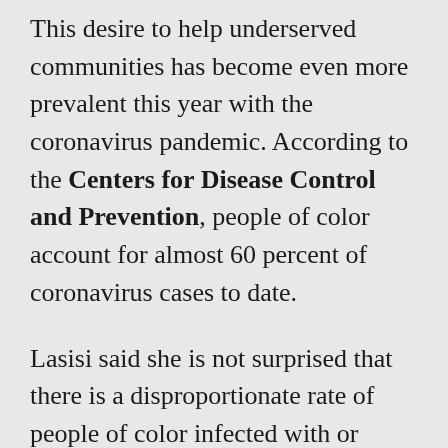This desire to help underserved communities has become even more prevalent this year with the coronavirus pandemic. According to the Centers for Disease Control and Prevention, people of color account for almost 60 percent of coronavirus cases to date.
Lasisi said she is not surprised that there is a disproportionate rate of people of color infected with or dying from the virus.
“It’s extremely unfortunate,” Lasisi said. “A lot of what’s happening right now is